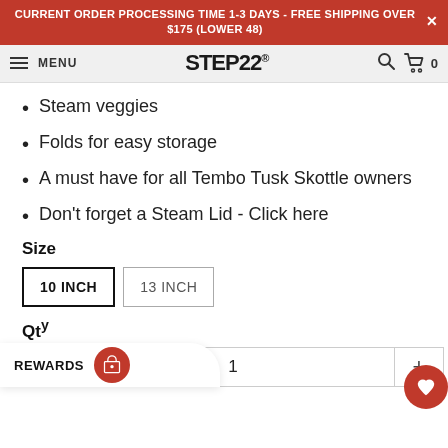CURRENT ORDER PROCESSING TIME 1-3 DAYS - FREE SHIPPING OVER $175 (LOWER 48)
MENU STEP22 0
Steam veggies
Folds for easy storage
A must have for all Tembo Tusk Skottle owners
Don't forget a Steam Lid - Click here
Size
10 INCH   13 INCH
Quantity
1
REWARDS